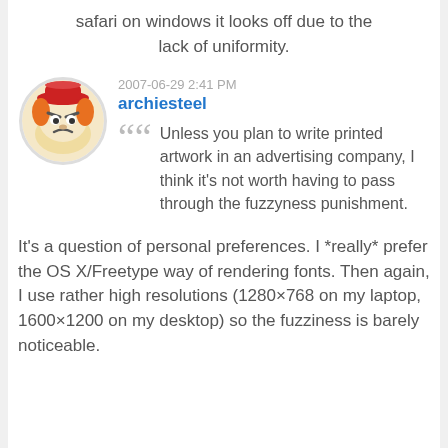safari on windows it looks off due to the lack of uniformity.
2007-06-29 2:41 PM
archiesteel
[Figure (illustration): Round avatar image of a cartoon angry character wearing a red hat]
Unless you plan to write printed artwork in an advertising company, I think it's not worth having to pass through the fuzzyness punishment.
It's a question of personal preferences. I *really* prefer the OS X/Freetype way of rendering fonts. Then again, I use rather high resolutions (1280×768 on my laptop, 1600×1200 on my desktop) so the fuzziness is barely noticeable.